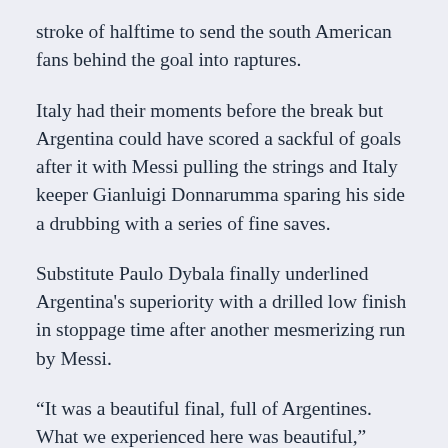stroke of halftime to send the south American fans behind the goal into raptures.
Italy had their moments before the break but Argentina could have scored a sackful of goals after it with Messi pulling the strings and Italy keeper Gianluigi Donnarumma sparing his side a drubbing with a series of fine saves.
Substitute Paulo Dybala finally underlined Argentina's superiority with a drilled low finish in stoppage time after another mesmerizing run by Messi.
“It was a beautiful final, full of Argentines. What we experienced here was beautiful,” Messi said.
“Today was a nice test because Italy are a great